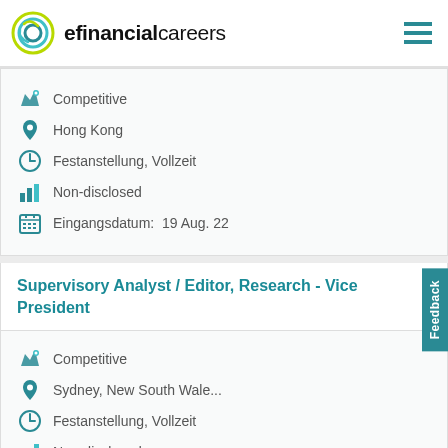efinancialcareers
Competitive
Hong Kong
Festanstellung, Vollzeit
Non-disclosed
Eingangsdatum:  19 Aug. 22
Supervisory Analyst / Editor, Research - Vice President
Competitive
Sydney, New South Wale...
Festanstellung, Vollzeit
Non-disclosed
Eingangsdatum:  20 Aug. 22